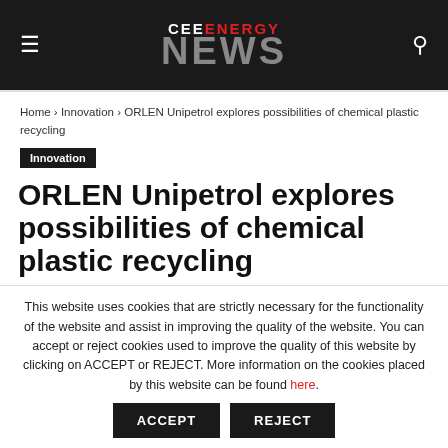CEE ENERGY NEWS
Home › Innovation › ORLEN Unipetrol explores possibilities of chemical plastic recycling
Innovation
ORLEN Unipetrol explores possibilities of chemical plastic recycling
This website uses cookies that are strictly necessary for the functionality of the website and assist in improving the quality of the website. You can accept or reject cookies used to improve the quality of this website by clicking on ACCEPT or REJECT. More information on the cookies placed by this website can be found here.